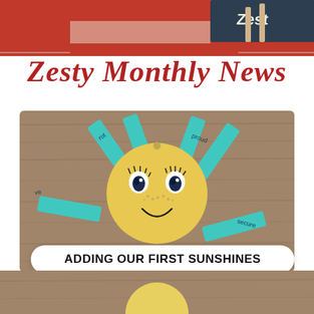[Figure (photo): Top partial photo showing a red background with 'Zest' text on a chalkboard and craft materials]
Zesty Monthly News
[Figure (photo): A handmade paper sunshine craft with a yellow circular face with drawn eyes and smile, and teal/cyan paper strips as rays with words written on them like 'proud', 'secure', 've', 'rot', on a wooden board background]
ADDING OUR FIRST SUNSHINES
[Figure (photo): Bottom partial photo showing the top of another yellow sunshine craft on a wooden board background]